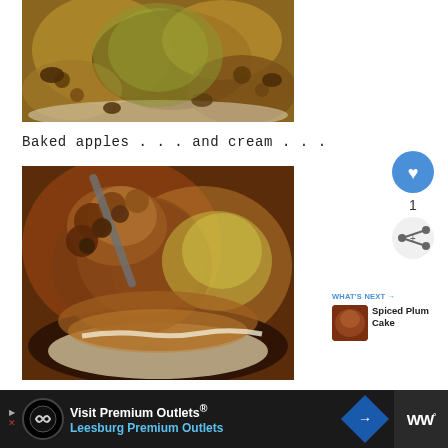[Figure (photo): Close-up photo of baked apple with walnuts and cream on a white plate, viewed from above]
Baked apples . . . and cream . . .
[Figure (photo): Close-up macro photo of baked apple being eaten with a spoon, showing caramelized topping and cream below]
WHAT'S NEXT → Spiced Plum Cake
[Figure (infographic): Advertisement banner: Visit Premium Outlets® Leesburg Premium Outlets]